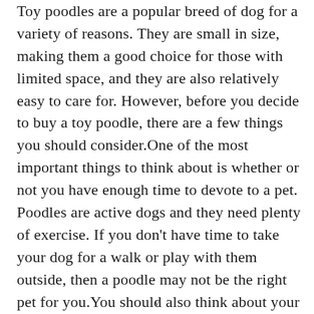Toy poodles are a popular breed of dog for a variety of reasons. They are small in size, making them a good choice for those with limited space, and they are also relatively easy to care for. However, before you decide to buy a toy poodle, there are a few things you should consider.One of the most important things to think about is whether or not you have enough time to devote to a pet. Poodles are active dogs and they need plenty of exercise. If you don't have time to take your dog for a walk or play with them outside, then a poodle may not be the right pet for you.You should also think about your lifestyle and whether or not a
v